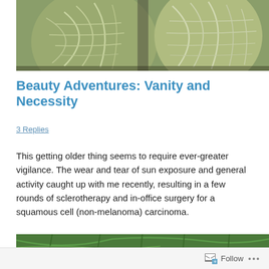[Figure (photo): Close-up photograph of a savoy cabbage head showing intricate vein patterns on light green leaves]
Beauty Adventures: Vanity and Necessity
3 Replies
This getting older thing seems to require ever-greater vigilance. The wear and tear of sun exposure and general activity caught up with me recently, resulting in a few rounds of sclerotherapy and in-office surgery for a squamous cell (non-melanoma) carcinoma.
[Figure (photo): Close-up photograph of a bright green leaf with prominent veins]
Follow